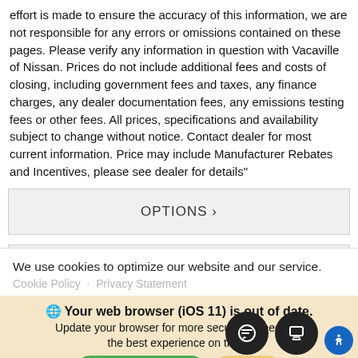effort is made to ensure the accuracy of this information, we are not responsible for any errors or omissions contained on these pages. Please verify any information in question with Vacaville of Nissan. Prices do not include additional fees and costs of closing, including government fees and taxes, any finance charges, any dealer documentation fees, any emissions testing fees or other fees. All prices, specifications and availability subject to change without notice. Contact dealer for most current information. Price may include Manufacturer Rebates and Incentives, please see dealer for details"
OPTIONS >
MECHANICAL >
We use cookies to optimize our website and our service.
Cookie Policy   Privacy Statement
Your web browser (iOS 11) is out of date. Update your browser for more security, speed and the best experience on this...
Update browser
Ignore